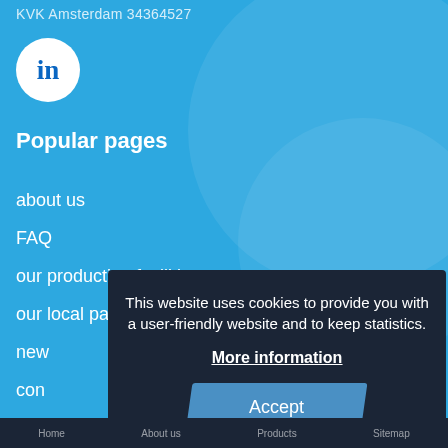KVK Amsterdam 34364527
[Figure (logo): LinkedIn logo — white circle with 'in' text]
Popular pages
about us
FAQ
our production facilities
our local partners
news
contact
This website uses cookies to provide you with a user-friendly website and to keep statistics.
More information
Accept